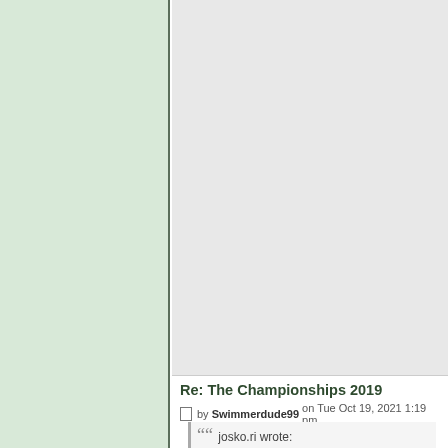[Figure (other): Left green sidebar panel]
[Figure (other): Gray avatar/image area on right panel top]
Re: The Championships 2019
by Swimmerdude99 on Tue Oct 19, 2021 1:19 pm
“” josko.ri wrote: